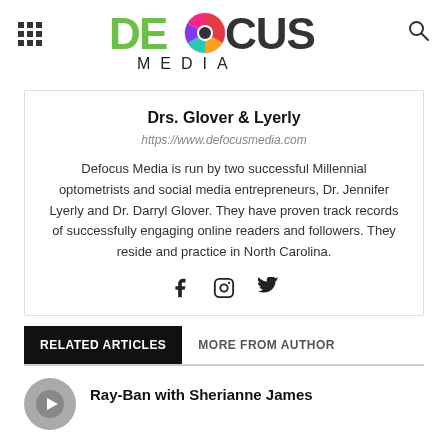[Figure (logo): Defocus Media logo with colorful camera lens icon and text DEFOCUS MEDIA]
Drs. Glover & Lyerly
https://www.defocusmedia.com
Defocus Media is run by two successful Millennial optometrists and social media entrepreneurs, Dr. Jennifer Lyerly and Dr. Darryl Glover. They have proven track records of successfully engaging online readers and followers. They reside and practice in North Carolina.
RELATED ARTICLES
MORE FROM AUTHOR
Ray-Ban with Sherianne James